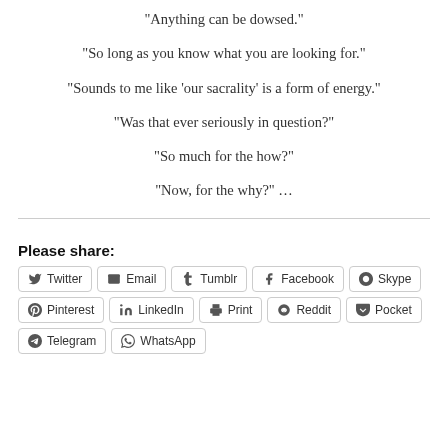“Anything can be dowsed.”
“So long as you know what you are looking for.”
“Sounds to me like ‘our sacrality’ is a form of energy.”
“Was that ever seriously in question?”
“So much for the how?”
“Now, for the why?” …
Please share:
Twitter  Email  Tumblr  Facebook  Skype  Pinterest  LinkedIn  Print  Reddit  Pocket  Telegram  WhatsApp